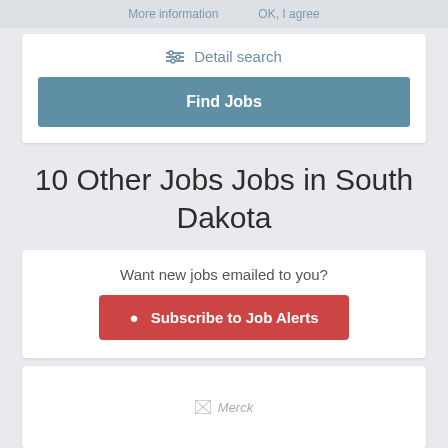More information   OK, I agree
≡ Detail search
Find Jobs
10 Other Jobs Jobs in South Dakota
Want new jobs emailed to you?
Subscribe to Job Alerts
[Figure (logo): Merck company logo (broken image placeholder)]